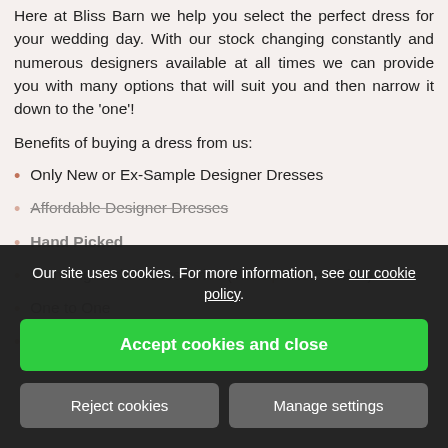Here at Bliss Barn we help you select the perfect dress for your wedding day. With our stock changing constantly and numerous designers available at all times we can provide you with many options that will suit you and then narrow it down to the 'one'!
Benefits of buying a dress from us:
Only New or Ex-Sample Designer Dresses
Affordable Designer Dresses
Hand Picked
Stunning Bridal Accessories (inc. Up Accessories)
One to One
Great Value
Our site uses cookies. For more information, see our cookie policy.
Accept cookies and close
Reject cookies
Manage settings